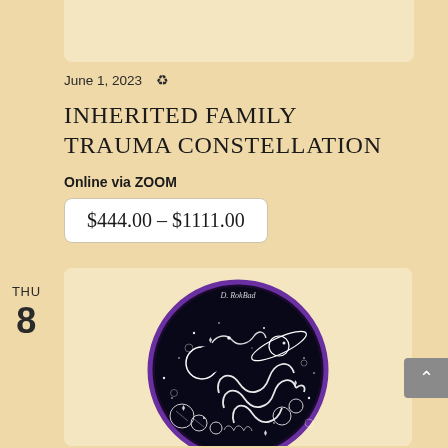[Figure (illustration): Top portion of a card or image area, beige/cream colored, partially visible at top of page]
June 1, 2023 ♻
INHERITED FAMILY TRAUMA CONSTELLATION
Online via ZOOM
$444.00 – $1111.00
THU
8
[Figure (illustration): Circular dark/black illustration with purple border showing a cosmic or constellation scene with snakes, planets, moon, stars, and celestial objects on a dark background. Artist signature reads 'D. RokBad' at top.]